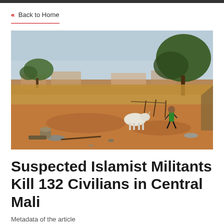« Back to Home
[Figure (photo): A rural village scene in Mali showing dry dusty ground, a white goat grazing, a child running in a green shirt, trees in the background, and various household items including a mortar and pestle and metal bowls scattered on the ground.]
Suspected Islamist Militants Kill 132 Civilians in Central Mali
Metadata about the article